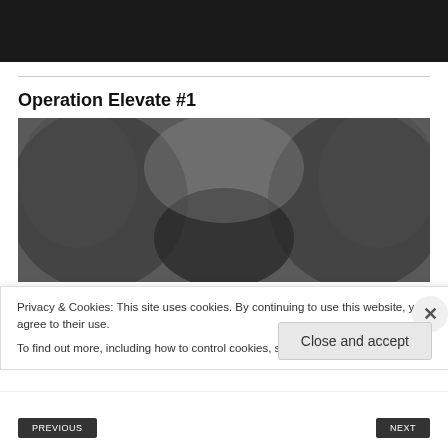[Figure (photo): Dark banner image at top of webpage]
Operation Elevate #1
[Figure (illustration): Book cover for 'Panther Abducted' showing two figures with fur/feathers in black and white with gold title text]
Privacy & Cookies: This site uses cookies. By continuing to use this website, you agree to their use.
To find out more, including how to control cookies, see here: Cookie Policy
Close and accept